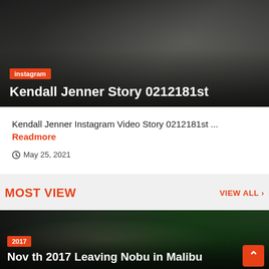[Figure (photo): Dark photo showing a person in white and dark clothing, partially cropped, with an orange 'instagram' tag label and white title text overlay.]
Kendall Jenner Story 0212181st
Kendall Jenner Instagram Video Story 0212181st ... Readmore
May 25, 2021
MOST VIEW
VIEW ALL >
[Figure (photo): Dark night photo of a woman with dark hair covering her face with her hand, wearing a denim jacket and backpack, with green foliage in background. Orange '2017' tag label at bottom left.]
Nov th 2017 Leaving Nobu in Malibu